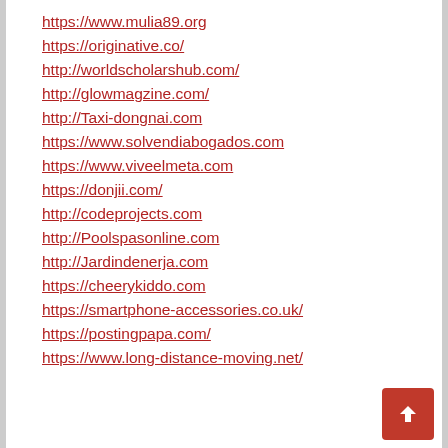https://www.mulia89.org
https://originative.co/
http://worldscholarshub.com/
http://glowmagzine.com/
http://Taxi-dongnai.com
https://www.solvendiabogados.com
https://www.viveelmeta.com
https://donjii.com/
http://codeprojects.com
http://Poolspasonline.com
http://Jardindenerja.com
https://cheerykiddo.com
https://smartphone-accessories.co.uk/
https://postingpapa.com/
https://www.long-distance-moving.net/